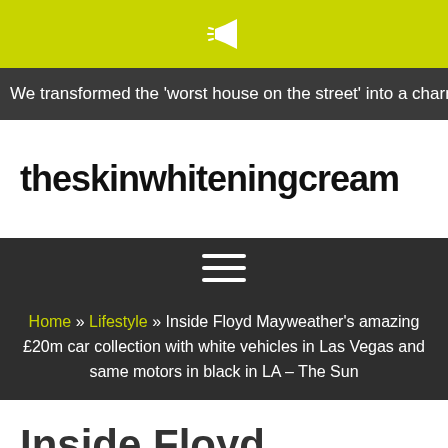[Figure (other): Yellow top bar with megaphone/announcement icon (white)]
We transformed the 'worst house on the street' into a charming cottage… we're stunned to find out how much it's worth | The Su
theskinwhiteningcream
[Figure (other): Dark navigation bar with hamburger menu icon (three horizontal lines)]
Home » Lifestyle » Inside Floyd Mayweather's amazing £20m car collection with white vehicles in Las Vegas and same motors in black in LA – The Sun
Inside Floyd Mayweather's amazing